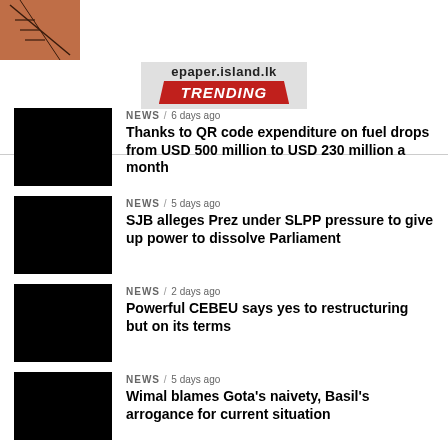[Figure (photo): Partial photo showing skin with stitches or sutures, orange/brown tones]
epaper.island.lk TRENDING
NEWS / 6 days ago — Thanks to QR code expenditure on fuel drops from USD 500 million to USD 230 million a month
NEWS / 5 days ago — SJB alleges Prez under SLPP pressure to give up power to dissolve Parliament
NEWS / 2 days ago — Powerful CEBEU says yes to restructuring but on its terms
NEWS / 5 days ago — Wimal blames Gota's naivety, Basil's arrogance for current situation